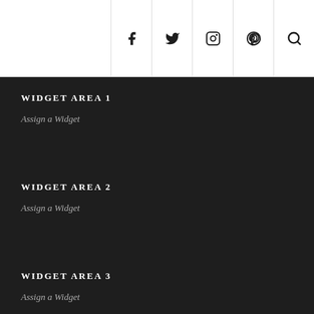Social icons: facebook, twitter, instagram, pinterest, search
WIDGET AREA 1
Assign a Widget
WIDGET AREA 2
Assign a Widget
WIDGET AREA 3
Assign a Widget